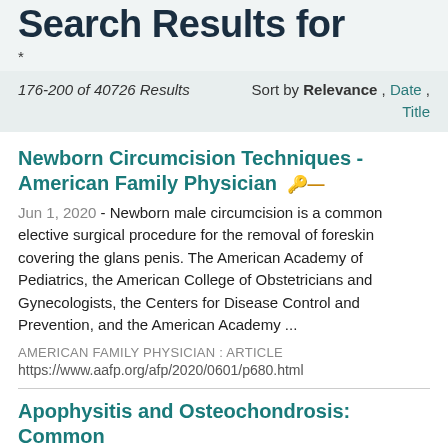Search Results for
*
176-200 of 40726 Results    Sort by Relevance , Date , Title
Newborn Circumcision Techniques - American Family Physician 🔑
Jun 1, 2020 - Newborn male circumcision is a common elective surgical procedure for the removal of foreskin covering the glans penis. The American Academy of Pediatrics, the American College of Obstetricians and Gynecologists, the Centers for Disease Control and Prevention, and the American Academy ...
AMERICAN FAMILY PHYSICIAN : ARTICLE
https://www.aafp.org/afp/2020/0601/p680.html
Apophysitis and Osteochondrosis: Common